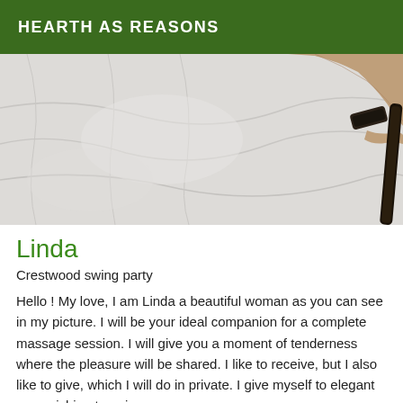HEARTH AS REASONS
[Figure (photo): Close-up photo of a white fabric/bedsheet with a person's arm visible in the upper right corner, wearing a dark bracelet.]
Linda
Crestwood swing party
Hello ! My love, I am Linda a beautiful woman as you can see in my picture. I will be your ideal companion for a complete massage session. I will give you a moment of tenderness where the pleasure will be shared. I like to receive, but I also like to give, which I will do in private. I give myself to elegant men wishing to enjoy my